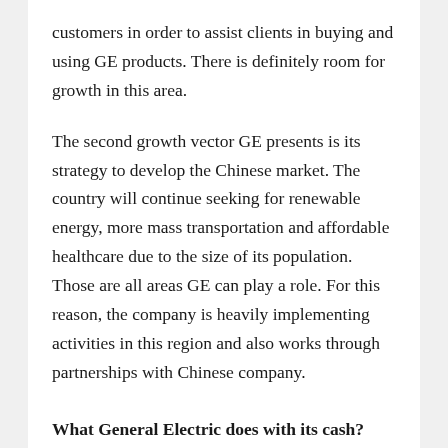customers in order to assist clients in buying and using GE products. There is definitely room for growth in this area.
The second growth vector GE presents is its strategy to develop the Chinese market. The country will continue seeking for renewable energy, more mass transportation and affordable healthcare due to the size of its population. Those are all areas GE can play a role. For this reason, the company is heavily implementing activities in this region and also works through partnerships with Chinese company.
What General Electric does with its cash?